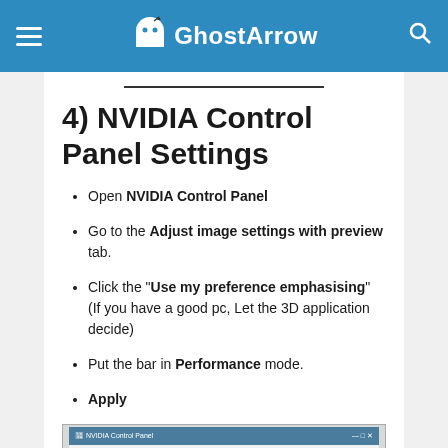GhostArrow
4) NVIDIA Control Panel Settings
Open NVIDIA Control Panel
Go to the Adjust image settings with preview tab.
Click the “Use my preference emphasising” (If you have a good pc, Let the 3D application decide)
Put the bar in Performance mode.
Apply
[Figure (screenshot): NVIDIA Control Panel window screenshot showing title bar and menu bar with File, Edit, Desktop, 3D Settings, Help options]